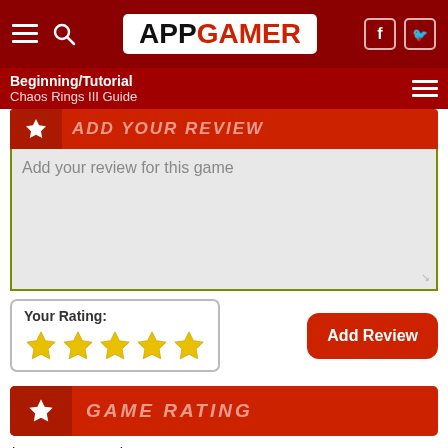APPGAMER
Beginning/Tutorial
Chaos Rings III Guide
ADD YOUR REVIEW
Add your review for this game
Your Rating:
Add Review
GAME RATING
iTunes User Rating:
4.8
AppGamer rating: